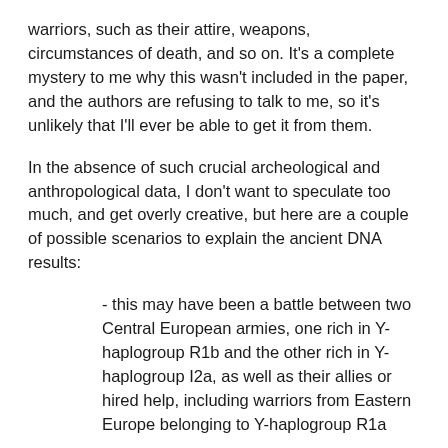warriors, such as their attire, weapons, circumstances of death, and so on. It's a complete mystery to me why this wasn't included in the paper, and the authors are refusing to talk to me, so it's unlikely that I'll ever be able to get it from them.
In the absence of such crucial archeological and anthropological data, I don't want to speculate too much, and get overly creative, but here are a couple of possible scenarios to explain the ancient DNA results:
- this may have been a battle between two Central European armies, one rich in Y-haplogroup R1b and the other rich in Y-haplogroup I2a, as well as their allies or hired help, including warriors from Eastern Europe belonging to Y-haplogroup R1a
- or perhaps it was an invasion from the east by warriors rich in Y-haplogroup R1a, and it was a success, with the local armies, rich in Y-haplogroups R1b and I2a, losing the battle and